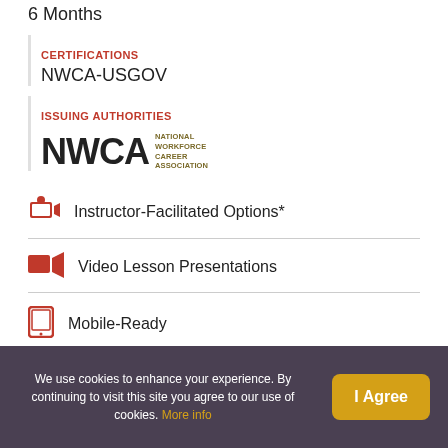6 Months
CERTIFICATIONS
NWCA-USGOV
ISSUING AUTHORITIES
[Figure (logo): NWCA National Workforce Career Association logo]
Instructor-Facilitated Options*
Video Lesson Presentations
Mobile-Ready
We use cookies to enhance your experience. By continuing to visit this site you agree to our use of cookies. More info